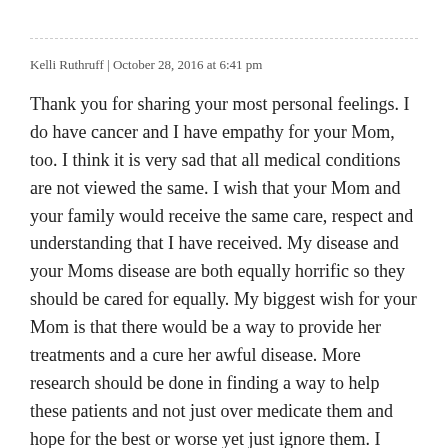Kelli Ruthruff | October 28, 2016 at 6:41 pm
Thank you for sharing your most personal feelings. I do have cancer and I have empathy for your Mom, too. I think it is very sad that all medical conditions are not viewed the same. I wish that your Mom and your family would receive the same care, respect and understanding that I have received. My disease and your Moms disease are both equally horrific so they should be cared for equally. My biggest wish for your Mom is that there would be a way to provide her treatments and a cure her awful disease. More research should be done in finding a way to help these patients and not just over medicate them and hope for the best or worse yet just ignore them. I think it is